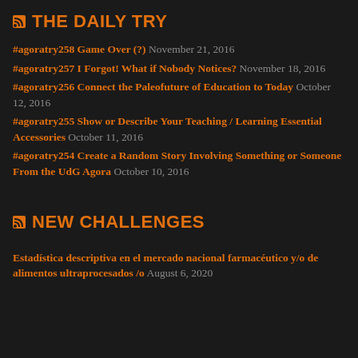THE DAILY TRY
#agoratry258 Game Over (?) November 21, 2016
#agoratry257 I Forgot! What if Nobody Notices? November 18, 2016
#agoratry256 Connect the Paleofuture of Education to Today October 12, 2016
#agoratry255 Show or Describe Your Teaching / Learning Essential Accessories October 11, 2016
#agoratry254 Create a Random Story Involving Something or Someone From the UdG Agora October 10, 2016
NEW CHALLENGES
Estadística descriptiva en el mercado nacional farmacéutico y/o de alimentos ultraprocesados /o August 6, 2020